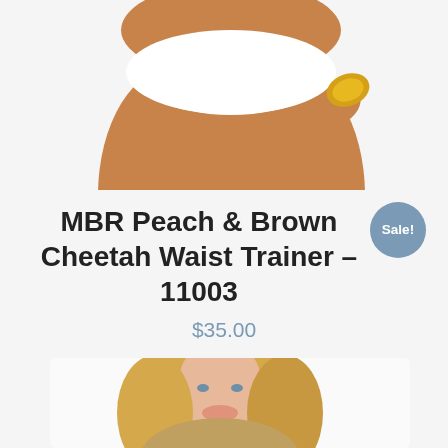[Figure (photo): Close-up photo of a woman's legs and hips wearing a white bikini bottom and gold bracelet, against a white background]
MBR Peach & Brown Cheetah Waist Trainer – 11003
Sale!
$35.00
[Figure (photo): Photo of a blonde woman smiling, wearing a waist trainer product]